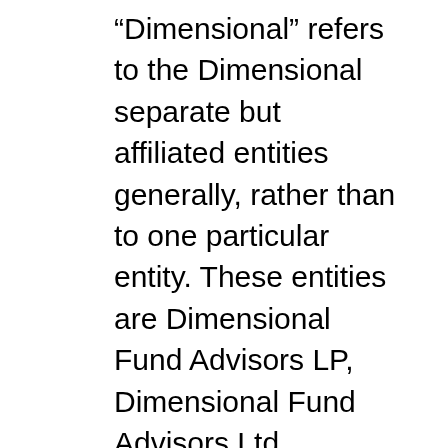“Dimensional” refers to the Dimensional separate but affiliated entities generally, rather than to one particular entity. These entities are Dimensional Fund Advisors LP, Dimensional Fund Advisors Ltd., Dimensional Ireland Limited, DFA Australia Limited, Dimensional Fund Advisors Canada ULC, Dimensional Fund Advisors Pte. Ltd., Dimensional Japan Ltd., and Dimensional Hong Kong Limited. Dimensional Hong Kong Limited is licensed by the Securities and Futures Commission to conduct Type 1 (dealing in securities) regulated activities only and does not